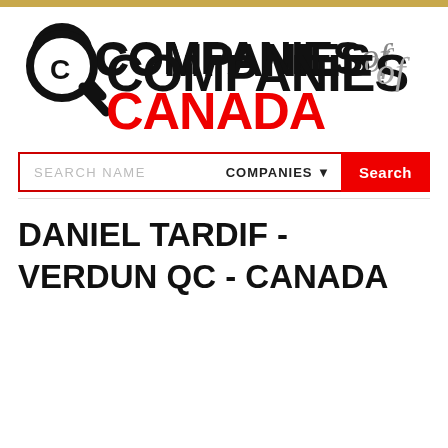[Figure (logo): Companies of Canada logo with magnifying glass icon, black bold text 'COMPANIES' with script 'of' in gray and red bold text 'CANADA']
SEARCH NAME   COMPANIES ▼   Search
DANIEL TARDIF - VERDUN QC - CANADA